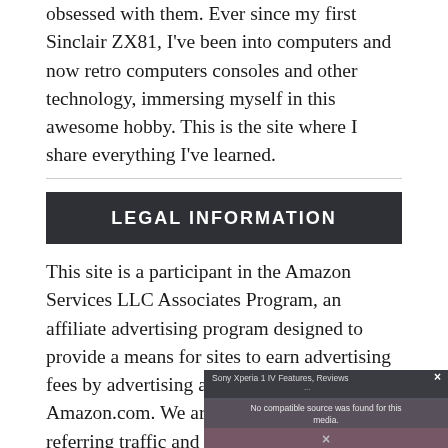obsessed with them. Ever since my first Sinclair ZX81, I've been into computers and now retro computers consoles and other technology, immersing myself in this awesome hobby. This is the site where I share everything I've learned.
LEGAL INFORMATION
This site is a participant in the Amazon Services LLC Associates Program, an affiliate advertising program designed to provide a means for sites to earn advertising fees by advertising and linking to Amazon.com. We are compensated for referring traffic and business to Amazon and other companies linked to on this site.
[Figure (screenshot): Video player overlay showing 'Sony Xperia 1 IV Features, Reviews' with 'No compatible source was found for this media.' error message and close button]